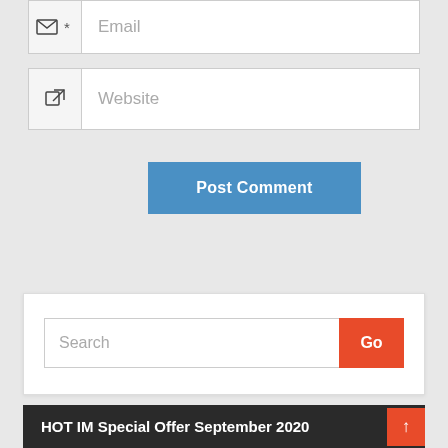[Figure (screenshot): Email input field with envelope icon and asterisk]
[Figure (screenshot): Website input field with external link icon]
Post Comment
[Figure (screenshot): Search input field with Go button]
HOT IM Special Offer September 2020